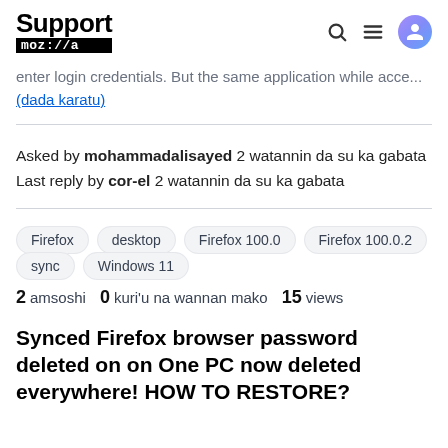Support moz://a
enter login credentials. But the same application while acce... (dada karatu)
Asked by mohammadalisayed 2 watannin da su ka gabata
Last reply by cor-el 2 watannin da su ka gabata
Firefox
desktop
Firefox 100.0
Firefox 100.0.2
sync
Windows 11
2 amsoshi  0 kuri'u na wannan mako  15 views
Synced Firefox browser password deleted on on One PC now deleted everywhere! HOW TO RESTORE?